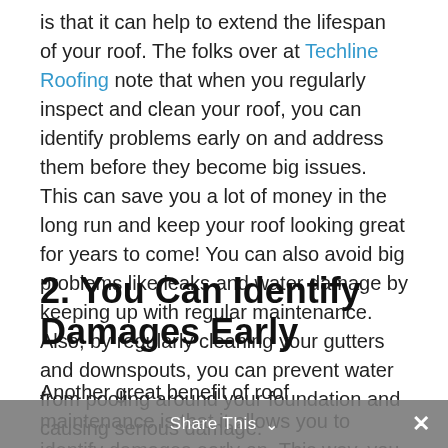is that it can help to extend the lifespan of your roof. The folks over at Techline Roofing note that when you regularly inspect and clean your roof, you can identify problems early on and address them before they become big issues. This can save you a lot of money in the long run and keep your roof looking great for years to come! You can also avoid big problems like leaks and water damage by keeping up with regular maintenance. Also, by regularly cleaning your gutters and downspouts, you can prevent water from pooling around your foundation and causing serious damage.
2. You Can Identify Damages Early
Another great benefit of roof maintenance is that it allows you to identify damages early on. This way, you
Share This